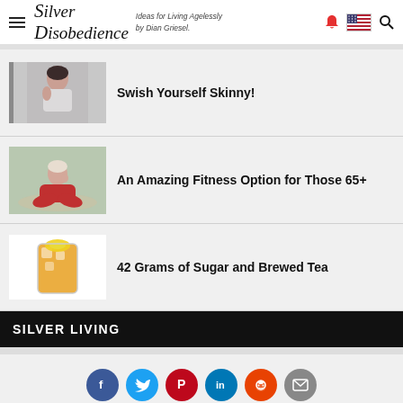Silver Disobedience — Ideas for Living Agelessly by Dian Griesel.
Swish Yourself Skinny!
[Figure (photo): Woman in white tank top drinking from a green cup, looking in a mirror]
An Amazing Fitness Option for Those 65+
[Figure (photo): Older woman in red outfit sitting cross-legged on a rug]
42 Grams of Sugar and Brewed Tea
[Figure (photo): Tall glass of iced tea with lemon slice]
SILVER LIVING
[Figure (infographic): Social sharing buttons: Facebook, Twitter, Pinterest, LinkedIn, Reddit, Email]